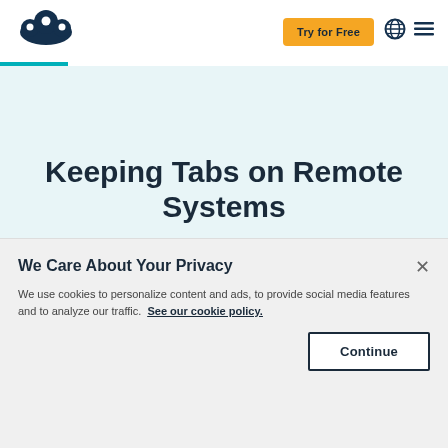[Figure (logo): SurveyMonkey cloud logo in dark navy blue]
Try for Free
Keeping Tabs on Remote Systems
Written by Zach DeMeyer on March 26, 2020
We Care About Your Privacy
We use cookies to personalize content and ads, to provide social media features and to analyze our traffic. See our cookie policy.
Continue